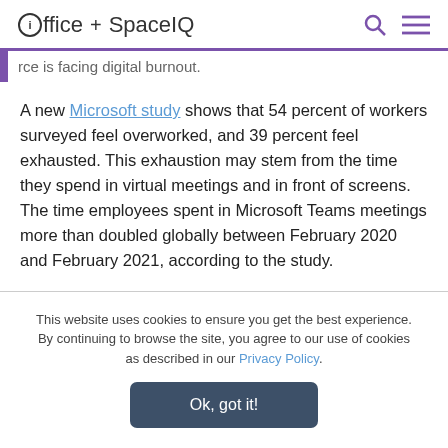ioffice + SpaceIQ
...rce is facing digital burnout.
A new Microsoft study shows that 54 percent of workers surveyed feel overworked, and 39 percent feel exhausted. This exhaustion may stem from the time they spend in virtual meetings and in front of screens. The time employees spent in Microsoft Teams meetings more than doubled globally between February 2020 and February 2021, according to the study.
Despite meeting and chat overload, 50% of people respond to
This website uses cookies to ensure you get the best experience. By continuing to browse the site, you agree to our use of cookies as described in our Privacy Policy.
Ok, got it!